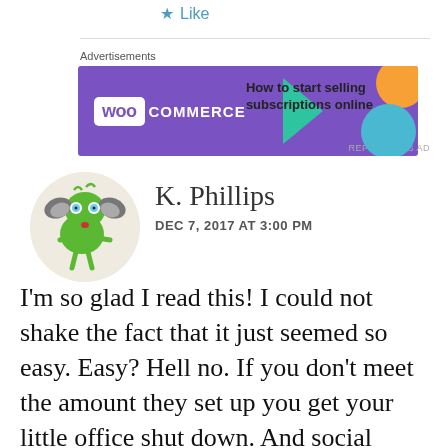Like
[Figure (illustration): WooCommerce advertisement banner with purple background, green triangle, orange and blue blobs. Text: How to start selling subscriptions online]
Advertisements
REPORT THIS AD
[Figure (illustration): Circular avatar with cartoon green monster character with bat wings and blue eyes on beige background]
K. Phillips
DEC 7, 2017 AT 3:00 PM
I'm so glad I read this! I could not shake the fact that it just seemed so easy. Easy? Hell no. If you don't meet the amount they set up you get your little office shut down. And social media is flooded with hostess parties etc. I think